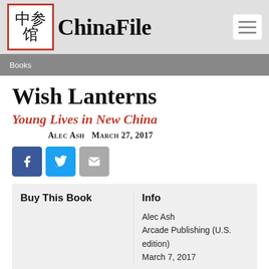ChinaFile
Books
Wish Lanterns
Young Lives in New China
Alec Ash   March 27, 2017
[Figure (other): Social share buttons: Facebook, Twitter, Email]
| Buy This Book | Info |
| --- | --- |
|  | Alec Ash
Arcade Publishing (U.S. edition)
March 7, 2017 |
Author Bio